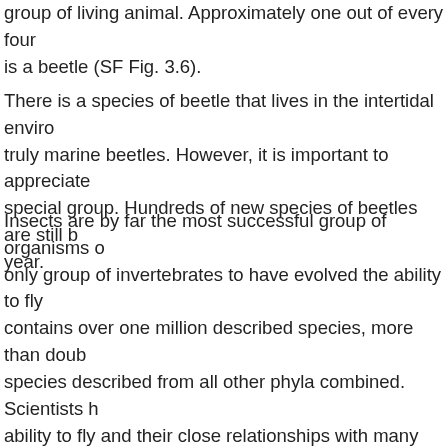group of living animal. Approximately one out of every four is a beetle (SF Fig. 3.6).
There is a species of beetle that lives in the intertidal enviro truly marine beetles. However, it is important to appreciate special group. Hundreds of new species of beetles are still b year.
Insects are by far the most successful group of organisms o only group of invertebrates to have evolved the ability to fly contains over one million described species, more than doub species described from all other phyla combined. Scientists h ability to fly and their close relationships with many flowerin huge radiation of insect species. Insects are one of the few t demonstrate true social behavior, most notably among the Insects have an enormous impact on humans. Pollinators lik necessary for agriculture, and insects like the silk moth and themselves produce valuable products like silk and dye. Othe